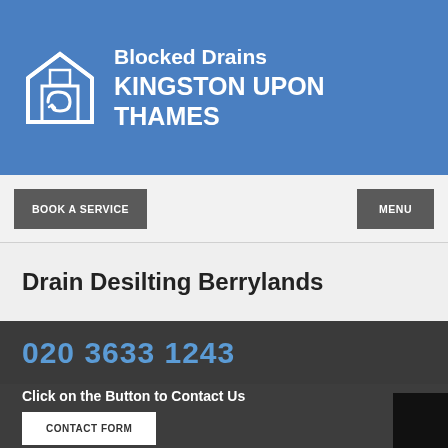Blocked Drains KINGSTON UPON THAMES
BOOK A SERVICE
MENU
Drain Desilting Berrylands
020 3633 1243
Click on the Button to Contact Us
CONTACT FORM